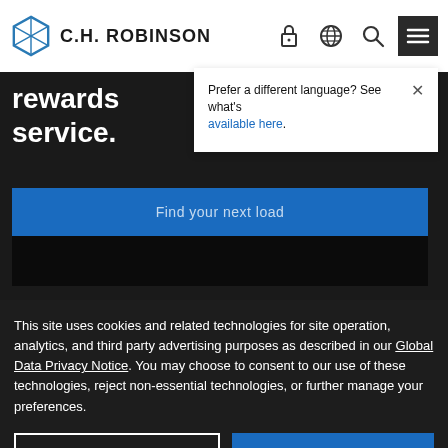C.H. ROBINSON
rewards service.
Prefer a different language? See what's available here.
Find your next load
This site uses cookies and related technologies for site operation, analytics, and third party advertising purposes as described in our Global Data Privacy Notice. You may choose to consent to our use of these technologies, reject non-essential technologies, or further manage your preferences.
Manage Settings
Accept